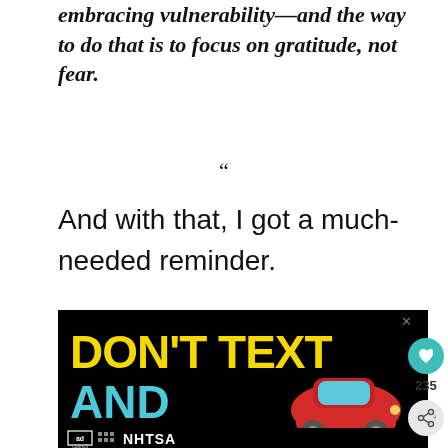embracing vulnerability—and the way to do that is to focus on gratitude, not fear.
“
And with that, I got a much-needed reminder.
[Figure (screenshot): Advertisement banner: 'DON'T TEXT AND [drive]' public safety ad from Ad Council and NHTSA, black background with yellow and cyan text and a red cartoon car illustration.]